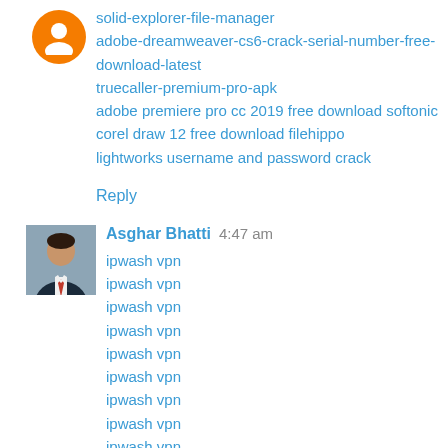[Figure (illustration): Orange circle avatar icon]
solid-explorer-file-manager
adobe-dreamweaver-cs6-crack-serial-number-free-download-latest
truecaller-premium-pro-apk
adobe premiere pro cc 2019 free download softonic
corel draw 12 free download filehippo
lightworks username and password crack
Reply
[Figure (photo): Photo of Asghar Bhatti, a man in a suit with a tie]
Asghar Bhatti  4:47 am
ipwash vpn
ipwash vpn
ipwash vpn
ipwash vpn
ipwash vpn
ipwash vpn
ipwash vpn
ipwash vpn
ipwash vpn